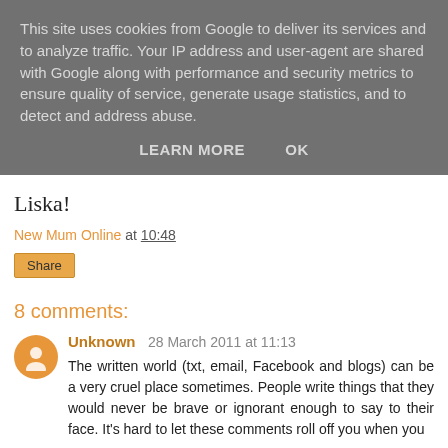This site uses cookies from Google to deliver its services and to analyze traffic. Your IP address and user-agent are shared with Google along with performance and security metrics to ensure quality of service, generate usage statistics, and to detect and address abuse.
LEARN MORE   OK
Liska!
New Mum Online at 10:48
Share
8 comments:
Unknown 28 March 2011 at 11:13
The written world (txt, email, Facebook and blogs) can be a very cruel place sometimes. People write things that they would never be brave or ignorant enough to say to their face. It's hard to let these comments roll off you when you